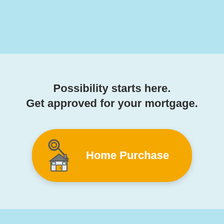[Figure (illustration): Light blue banner top section, partial view of a finance/mortgage web page header]
Possibility starts here.
Get approved for your mortgage.
[Figure (illustration): Orange pill-shaped button with a house and keys icon on the left, labeled 'Home Purchase' in white bold text]
[Figure (illustration): Light blue footer strip at the bottom of the page]